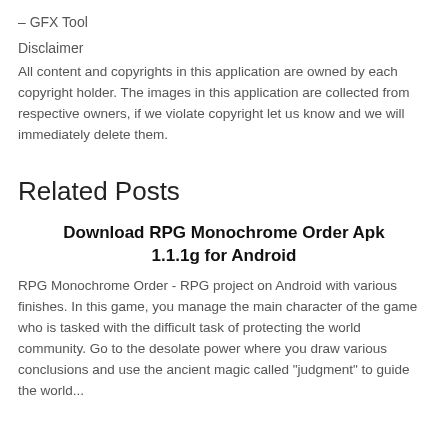– GFX Tool
Disclaimer
All content and copyrights in this application are owned by each copyright holder. The images in this application are collected from respective owners, if we violate copyright let us know and we will immediately delete them.
Related Posts
Download RPG Monochrome Order Apk 1.1.1g for Android
RPG Monochrome Order - RPG project on Android with various finishes. In this game, you manage the main character of the game who is tasked with the difficult task of protecting the world community. Go to the desolate power where you draw various conclusions and use the ancient magic called "judgment" to guide the world...